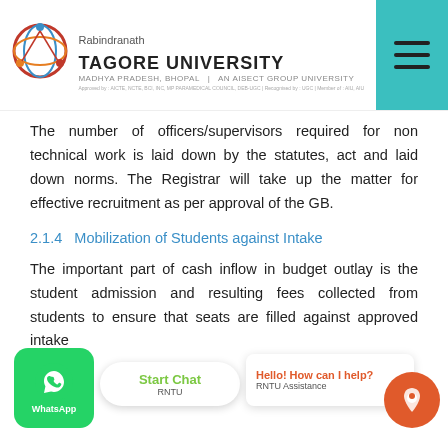Rabindranath Tagore University, Madhya Pradesh, Bhopal, An AISECT Group University
The number of officers/supervisors required for non technical work is laid down by the statutes, act and laid down norms. The Registrar will take up the matter for effective recruitment as per approval of the GB.
2.1.4 Mobilization of Students against Intake
The important part of cash inflow in budget outlay is the student admission and resulting fees collected from students to ensure that seats are filled against approved intake